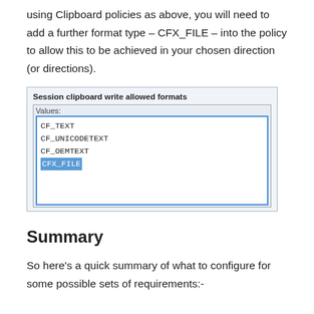using Clipboard policies as above, you will need to add a further format type – CFX_FILE – into the policy to allow this to be achieved in your chosen direction (or directions).
[Figure (screenshot): Screenshot of a Windows dialog box titled 'Session clipboard write allowed formats' showing a Values listbox containing CF_TEXT, CF_UNICODETEXT, CF_OEMTEXT, and CFX_FILE (selected/highlighted in blue).]
Summary
So here's a quick summary of what to configure for some possible sets of requirements:-